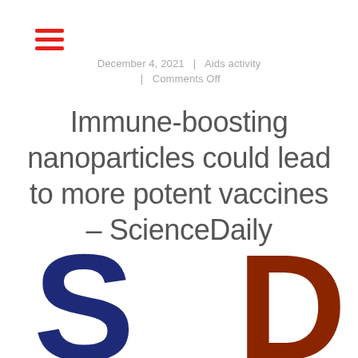[Figure (logo): Hamburger menu icon with three red horizontal bars]
December 4, 2021  |  Aids activity
|  Comments Off
Immune-boosting nanoparticles could lead to more potent vaccines – ScienceDaily
[Figure (logo): ScienceDaily logo showing large blue letter S and partially visible brown/red letter D]